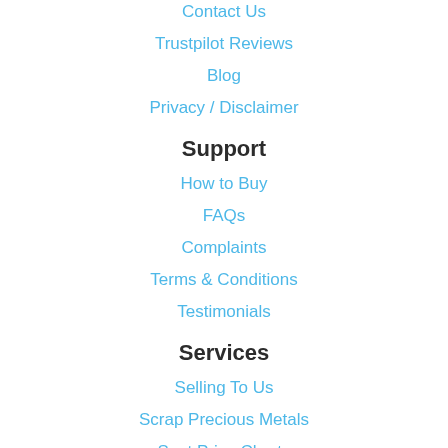Contact Us
Trustpilot Reviews
Blog
Privacy / Disclaimer
Support
How to Buy
FAQs
Complaints
Terms & Conditions
Testimonials
Services
Selling To Us
Scrap Precious Metals
Spot Price Charts
Learning Centre